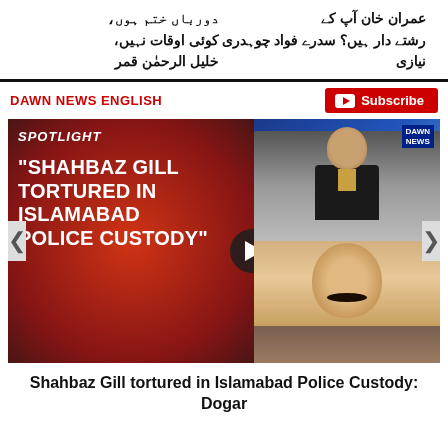عمران خان آپ کے رشتے دار ہیں؟ سدرے فواد چوہدری نیازی
دورباں ختم ہوں، کوئی اوقات نہیں، خلیل الرحمٰن قمر
DAWN NEWS ENGLISH
[Figure (screenshot): Video thumbnail showing SPOTLIGHT segment with text 'SHAHBAZ GILL TORTURED IN ISLAMABAD POLICE CUSTODY' on red background, with news anchor and photo of Dogar on right side]
Shahbaz Gill tortured in Islamabad Police Custody: Dogar